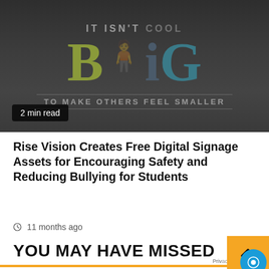[Figure (illustration): Dark-background anti-bullying illustration with text 'IT ISN'T COOL' at top, large letters 'BIG' in olive/teal colors with a small figure silhouette, and text 'TO MAKE OTHERS FEEL SMALLER' at bottom. Badge overlay reads '2 min read'.]
2 min read
Rise Vision Creates Free Digital Signage Assets for Encouraging Safety and Reducing Bullying for Students
11 months ago
YOU MAY HAVE MISSED